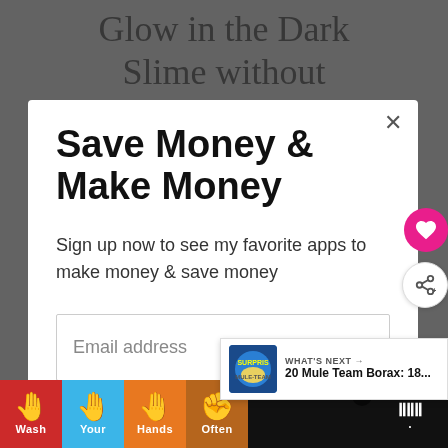Glow in the Dark Slime without
Save Money & Make Money
Sign up now to see my favorite apps to make money & save money
Email address
Get It Now
[Figure (screenshot): Pink circular heart button (favorite/save) floating on right side]
[Figure (screenshot): White circular share button floating on right side]
[Figure (screenshot): What's Next banner showing '20 Mule Team Borax: 18...' with thumbnail]
[Figure (screenshot): Bottom advertisement banner: Wash Your Hands Often with colorful hand-washing graphics]